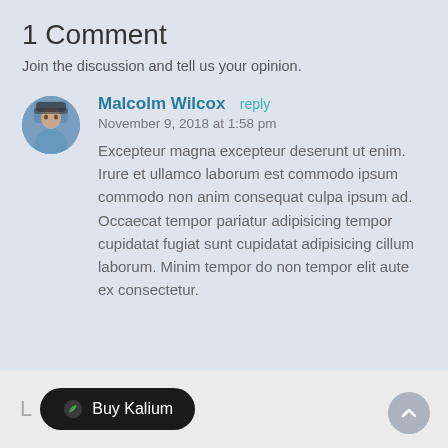1 Comment
Join the discussion and tell us your opinion.
Malcolm Wilcox reply
November 9, 2018 at 1:58 pm
Excepteur magna excepteur deserunt ut enim. Irure et ullamco laborum est commodo ipsum commodo non anim consequat culpa ipsum ad. Occaecat tempor pariatur adipisicing tempor cupidatat fugiat sunt cupidatat adipisicing cillum laborum. Minim tempor do non tempor elit aute ex consectetur.
L
Buy Kalium